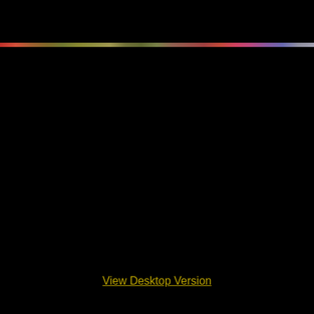[Figure (other): A thin horizontal rainbow-colored gradient bar spanning the full width of the page, positioned near the top on a black background.]
View Desktop Version